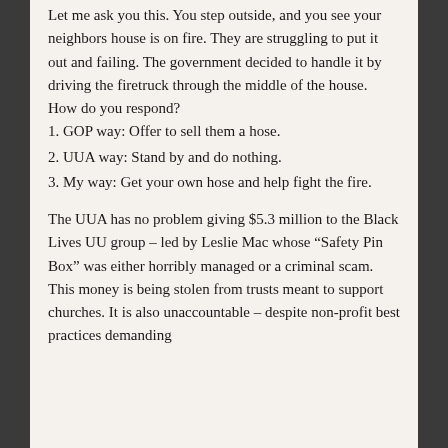Let me ask you this. You step outside, and you see your neighbors house is on fire. They are struggling to put it out and failing. The government decided to handle it by driving the firetruck through the middle of the house. How do you respond?
1. GOP way: Offer to sell them a hose.
2. UUA way: Stand by and do nothing.
3. My way: Get your own hose and help fight the fire.
The UUA has no problem giving $5.3 million to the Black Lives UU group – led by Leslie Mac whose “Safety Pin Box” was either horribly managed or a criminal scam. This money is being stolen from trusts meant to support churches. It is also unaccountable – despite non-profit best practices demanding